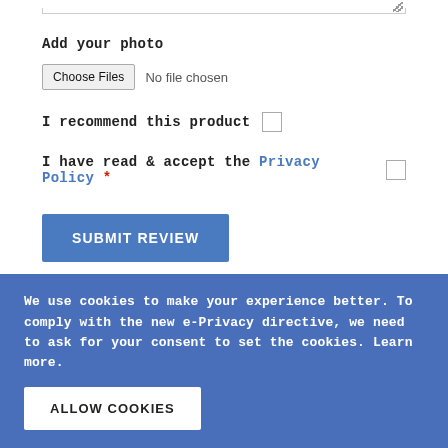Add your photo
Choose Files  No file chosen
I recommend this product
I have read & accept the Privacy Policy *
SUBMIT REVIEW
We use cookies to make your experience better. To comply with the new e-Privacy directive, we need to ask for your consent to set the cookies. Learn more.
ALLOW COOKIES